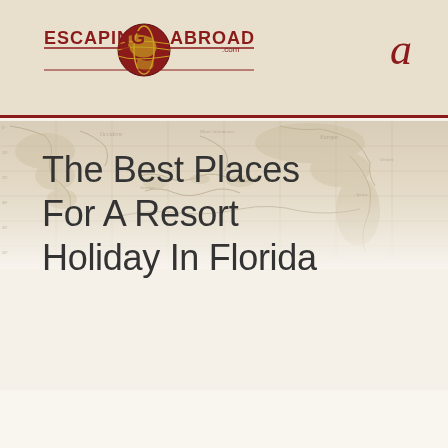ESCAPING ABROAD .com  a
[Figure (illustration): Vintage world map banner background with faded sepia tones showing continents and ocean routes]
The Best Places For A Resort Holiday In Florida